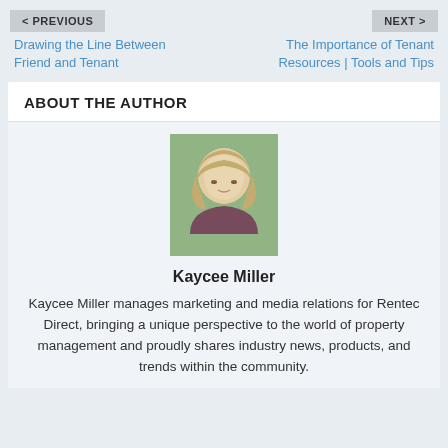< PREVIOUS
NEXT >
Drawing the Line Between Friend and Tenant
The Importance of Tenant Resources | Tools and Tips
ABOUT THE AUTHOR
[Figure (photo): Portrait photo of Kaycee Miller, a woman with long blonde hair, wearing a dark top, with trees in the background]
Kaycee Miller
Kaycee Miller manages marketing and media relations for Rentec Direct, bringing a unique perspective to the world of property management and proudly shares industry news, products, and trends within the community.